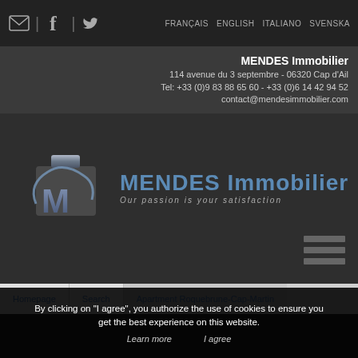Social icons | FRANÇAIS ENGLISH ITALIANO SVENSKA
MENDES Immobilier
114 avenue du 3 septembre - 06320 Cap d'Ail
Tel: +33 (0)9 83 88 65 60 - +33 (0)6 14 42 94 52
contact@mendesimmobilier.com
[Figure (logo): MENDES Immobilier logo with metallic 'M' emblem and tagline 'Our passion is your satisfaction']
[Figure (infographic): Hamburger menu icon with three horizontal bars]
Homepage  Search  Apartment Roquebrune-Cap-Martin
By clicking on "I agree", you authorize the use of cookies to ensure you get the best experience on this website.
Learn more  I agree